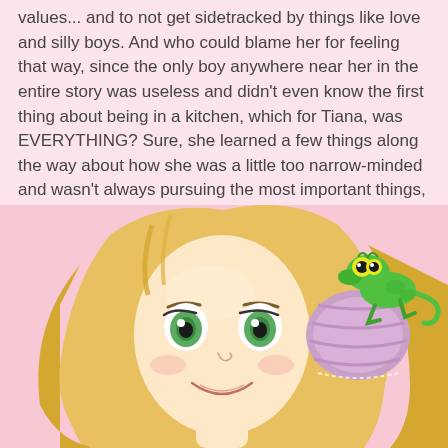values... and to not get sidetracked by things like love and silly boys. And who could blame her for feeling that way, since the only boy anywhere near her in the entire story was useless and didn't even know the first thing about being in a kitchen, which for Tiana, was EVERYTHING? Sure, she learned a few things along the way about how she was a little too narrow-minded and wasn't always pursuing the most important things, but in the end, it was Naveen working in HER kitchen, and she? Saved him because it was only the kiss of a princess that would break the spell.
[Figure (illustration): Animated illustration of Rapunzel (Disney character) with green eyes and long blonde hair, smiling, with Pascal the green chameleon sitting on her braided hair bun. Pink lavender background.]